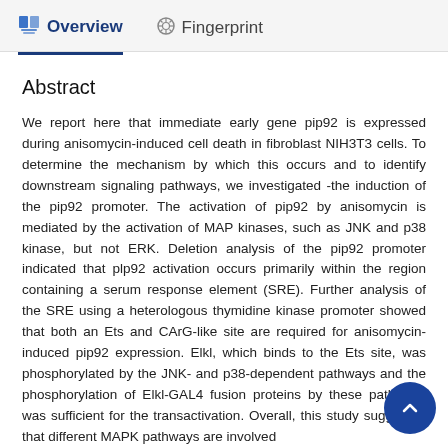Overview   Fingerprint
Abstract
We report here that immediate early gene pip92 is expressed during anisomycin-induced cell death in fibroblast NIH3T3 cells. To determine the mechanism by which this occurs and to identify downstream signaling pathways, we investigated -the induction of the pip92 promoter. The activation of pip92 by anisomycin is mediated by the activation of MAP kinases, such as JNK and p38 kinase, but not ERK. Deletion analysis of the pip92 promoter indicated that plp92 activation occurs primarily within the region containing a serum response element (SRE). Further analysis of the SRE using a heterologous thymidine kinase promoter showed that both an Ets and CArG-like site are required for anisomycin-induced pip92 expression. Elkl, which binds to the Ets site, was phosphorylated by the JNK- and p38-dependent pathways and the phosphorylation of Elkl-GAL4 fusion proteins by these pathways was sufficient for the transactivation. Overall, this study suggested that different MAPK pathways are involved